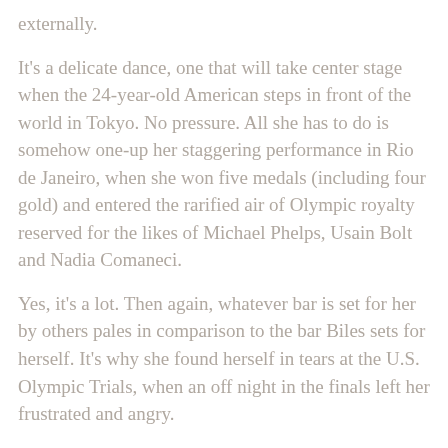externally.
It's a delicate dance, one that will take center stage when the 24-year-old American steps in front of the world in Tokyo. No pressure. All she has to do is somehow one-up her staggering performance in Rio de Janeiro, when she won five medals (including four gold) and entered the rarified air of Olympic royalty reserved for the likes of Michael Phelps, Usain Bolt and Nadia Comaneci.
Yes, it's a lot. Then again, whatever bar is set for her by others pales in comparison to the bar Biles sets for herself. It's why she found herself in tears at the U.S. Olympic Trials, when an off night in the finals left her frustrated and angry.
“I feel like anything rather than my best will tick me off,” Biles said.
It's that drive that led Biles to return to the gym after a year off following her remarkable success in Brazil. No…